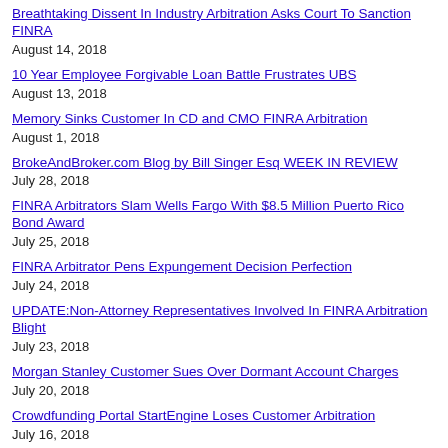Breathtaking Dissent In Industry Arbitration Asks Court To Sanction FINRA
August 14, 2018
10 Year Employee Forgivable Loan Battle Frustrates UBS
August 13, 2018
Memory Sinks Customer In CD and CMO FINRA Arbitration
August 1, 2018
BrokeAndBroker.com Blog by Bill Singer Esq WEEK IN REVIEW
July 28, 2018
FINRA Arbitrators Slam Wells Fargo With $8.5 Million Puerto Rico Bond Award
July 25, 2018
FINRA Arbitrator Pens Expungement Decision Perfection
July 24, 2018
UPDATE:Non-Attorney Representatives Involved In FINRA Arbitration Blight
July 23, 2018
Morgan Stanley Customer Sues Over Dormant Account Charges
July 20, 2018
Crowdfunding Portal StartEngine Loses Customer Arbitration
July 16, 2018